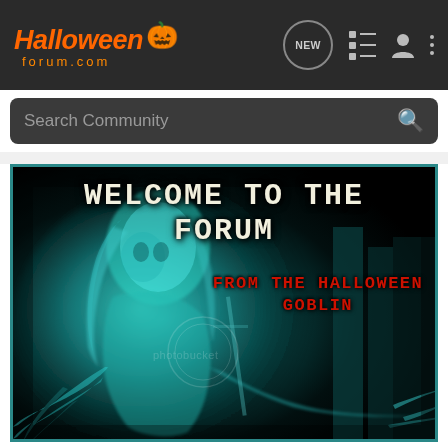HalloweenForum.com navigation bar with NEW button, list icon, user icon, and more options icon
Search Community
[Figure (photo): Dark horror image with a glowing teal/green zombie ghost figure with clawed hands and long hair, text reads 'WELCOME TO THE FORUM' in white distressed font and 'FROM THE HALLOWEEN GOBLIN' in red distressed font. Photobucket watermark visible.]